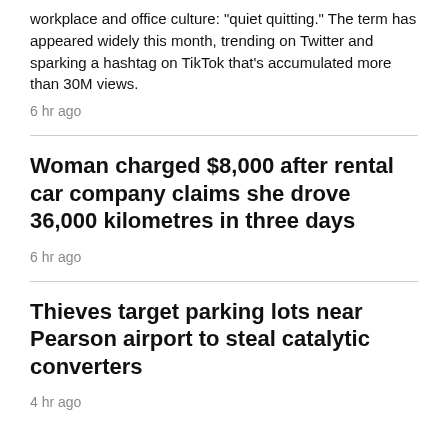workplace and office culture: "quiet quitting." The term has appeared widely this month, trending on Twitter and sparking a hashtag on TikTok that's accumulated more than 30M views.
6 hr ago
Woman charged $8,000 after rental car company claims she drove 36,000 kilometres in three days
6 hr ago
Thieves target parking lots near Pearson airport to steal catalytic converters
4 hr ago
MONTREAL